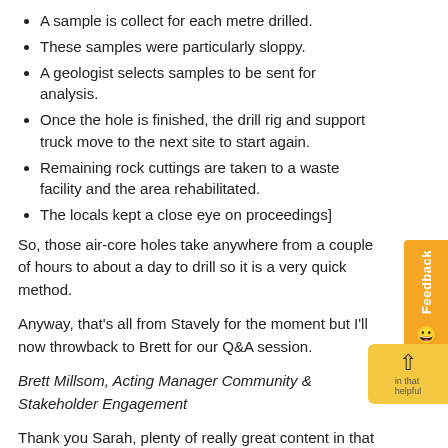A sample is collect for each metre drilled.
These samples were particularly sloppy.
A geologist selects samples to be sent for analysis.
Once the hole is finished, the drill rig and support truck move to the next site to start again.
Remaining rock cuttings are taken to a waste facility and the area rehabilitated.
The locals kept a close eye on proceedings]
So, those air-core holes take anywhere from a couple of hours to about a day to drill so it is a very quick method.
Anyway, that's all from Stavely for the moment but I'll now throwback to Brett for our Q&A session.
Brett Millsom, Acting Manager Community & Stakeholder Engagement
Thank you Sarah, plenty of really great content in that presentation and I think the videos are particularly helpful too in being able to paint a really good picture of what locals might be able to see and what exploration actually looks like.